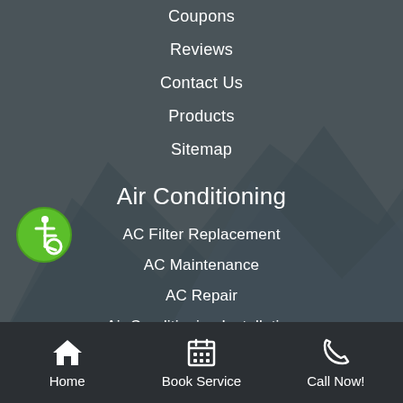Coupons
Reviews
Contact Us
Products
Sitemap
Air Conditioning
AC Filter Replacement
AC Maintenance
AC Repair
Air Conditioning Installation
Air Filtration
Air Handler
Load Calculations
[Figure (other): Green circle accessibility icon with wheelchair user symbol]
Home | Book Service | Call Now!